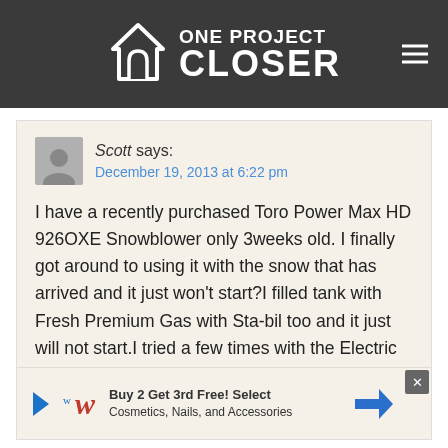[Figure (logo): One Project Closer website logo with house icon on dark grey header background with hamburger menu icon]
Scott says:
December 19, 2013 at 6:22 pm
I have a recently purchased Toro Power Max HD 926OXE Snowblower only 3weeks old. I finally got around to using it with the snow that has arrived and it just won't start?I filled tank with Fresh Premium Gas with Sta-bil too and it just will not start.I tried a few times with the Electric Start Button and it tries to start from the sound of the Starter makes but it just doesn't start whats wrong.I set the Choke Primed the engine Key in ignition Push
[Figure (screenshot): Walgreens advertisement banner: Buy 2 Get 3rd Free! Select Cosmetics, Nails, and Accessories]